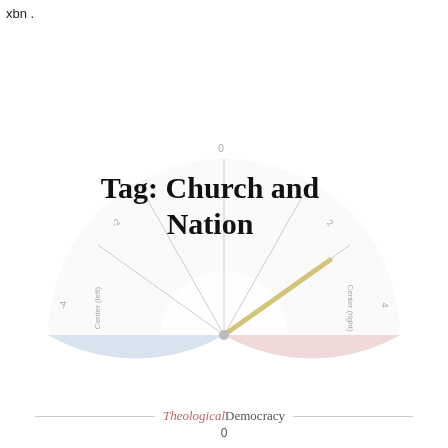xbn .
[Figure (other): A semicircular gauge/meter diagram with a blue left half and a pink/red right half, with tick marks and axis labels (-4, -2, 0, 2, 4), and a needle pointing to the right side. Text 'Tag: Church and Nation' overlaid in the center-left area of the gauge.]
Tag: Church and Nation
Theological Democracy
0